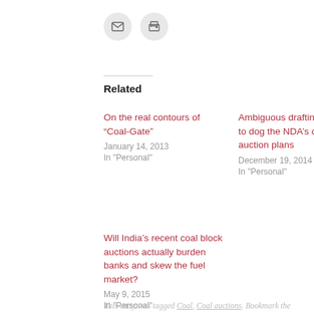[Figure (other): Email and print icon buttons in circular grey backgrounds]
Related
On the real contours of “Coal-Gate”
January 14, 2013
In "Personal"
Ambiguous drafting continues to dog the NDA’s coalblock auction plans
December 19, 2014
In "Personal"
Will India’s recent coal block auctions actually burden banks and skew the fuel market?
May 9, 2015
In "Personal"
This entry was tagged Coal, Coal auctions. Bookmark the permalink.